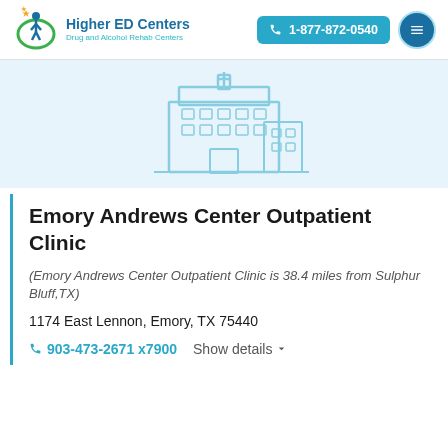Higher ED Centers — Drug and Alcohol Rehab Centers | 1-877-872-0540
[Figure (illustration): Outline illustration of a hospital/clinic building in light blue on a pale blue background]
Emory Andrews Center Outpatient Clinic
(Emory Andrews Center Outpatient Clinic is 38.4 miles from Sulphur Bluff,TX)
1174 East Lennon, Emory, TX 75440
903-473-2671 x7900   Show details